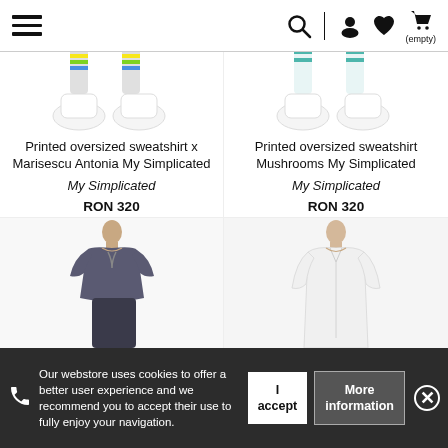Navigation bar with hamburger menu, search, account, wishlist, and cart (empty) icons
[Figure (photo): Partial view of white sneakers with rainbow socks - product image cropped at top]
[Figure (photo): Partial view of white sneakers with teal/green socks - product image cropped at top]
Printed oversized sweatshirt x Marisescu Antonia My Simplicated
Printed oversized sweatshirt Mushrooms My Simplicated
My Simplicated
My Simplicated
RON 320
RON 320
[Figure (photo): Woman wearing dark gray draped short-sleeve top and dark pants - product image]
[Figure (photo): Woman wearing white button-up long shirt - product image]
Our webstore uses cookies to offer a better user experience and we recommend you to accept their use to fully enjoy your navigation.